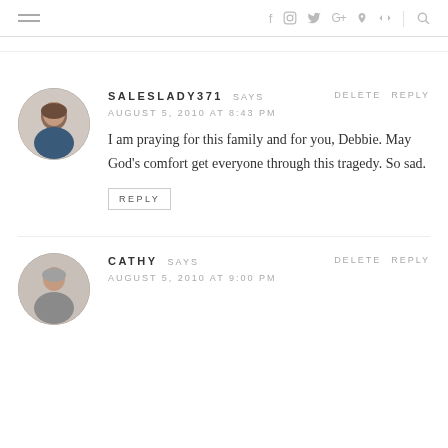Social media navigation bar with hamburger menu and icons: f, Instagram, Twitter, G+, Pinterest, RSS, Search
SALESLADY371 SAYS — AUGUST 5, 2010 AT 8:43 PM — I am praying for this family and for you, Debbie. May God's comfort get everyone through this tragedy. So sad.
CATHY SAYS — AUGUST 5, 2010 AT 9:00 PM